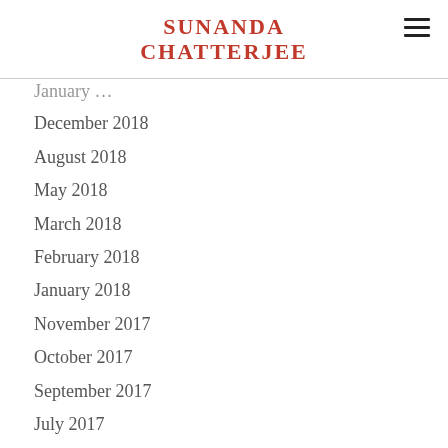SUNANDA CHATTERJEE
January …
December 2018
August 2018
May 2018
March 2018
February 2018
January 2018
November 2017
October 2017
September 2017
July 2017
June 2017
April 2017
March 2017
February 2017
January 2017